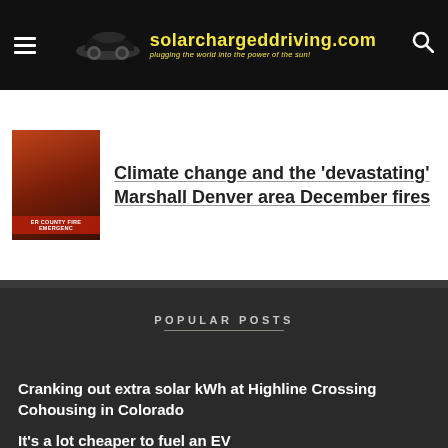solarchargeddriving.com — plugging the world into the power of the sun!
Climate change and the 'devastating' Marshall Denver area December fires
POPULAR POSTS
Cranking out extra solar kWh at Highline Crossing Cohousing in Colorado
It's a lot cheaper to fuel an EV